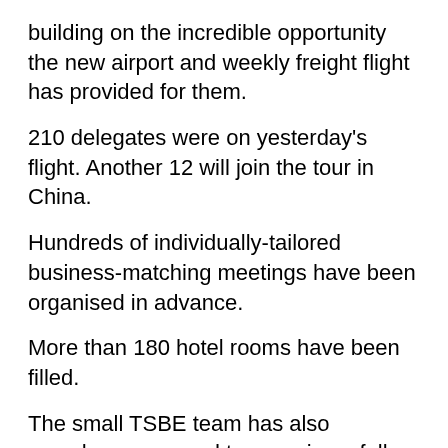building on the incredible opportunity the new airport and weekly freight flight has provided for them.
210 delegates were on yesterday's flight. Another 12 will join the tour in China.
Hundreds of individually-tailored business-matching meetings have been organised in advance.
More than 180 hotel rooms have been filled.
The small TSBE team has also somehow managed to organise a full-day Access China conference which is being held in Shanghai today, involving no less than individual 45 speakers.
250 people will attend a gala dinner tonight, where Stanbroke beef will feature on the menu.